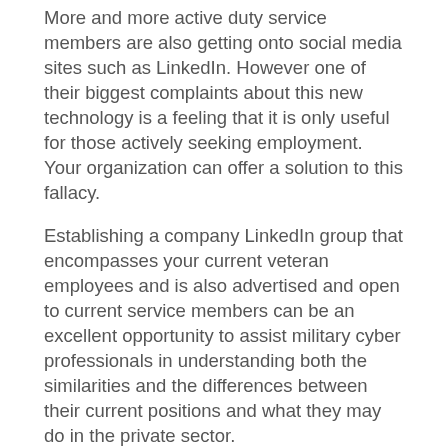More and more active duty service members are also getting onto social media sites such as LinkedIn. However one of their biggest complaints about this new technology is a feeling that it is only useful for those actively seeking employment. Your organization can offer a solution to this fallacy.
Establishing a company LinkedIn group that encompasses your current veteran employees and is also advertised and open to current service members can be an excellent opportunity to assist military cyber professionals in understanding both the similarities and the differences between their current positions and what they may do in the private sector.
Here's the best part. By maintaining this group you are also providing your organization with a steady stream of highly trained future candidates, each with positive feelings about your company. This should now be the first pond your recruiters fish in each time you have an opening.
Another possibility to develop relationships is through